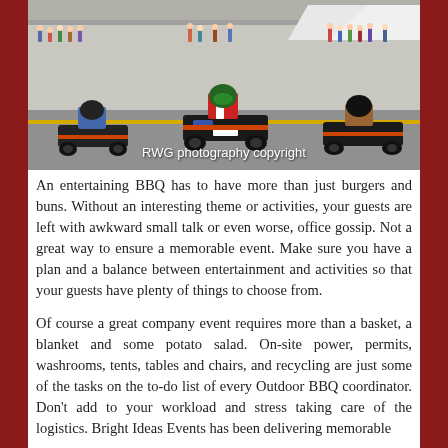[Figure (photo): People racing go-karts on an outdoor track with spectators watching in the background. Photo credit: RWG photography copyright]
An entertaining BBQ has to have more than just burgers and buns. Without an interesting theme or activities, your guests are left with awkward small talk or even worse, office gossip. Not a great way to ensure a memorable event. Make sure you have a plan and a balance between entertainment and activities so that your guests have plenty of things to choose from.
Of course a great company event requires more than a basket, a blanket and some potato salad. On-site power, permits, washrooms, tents, tables and chairs, and recycling are just some of the tasks on the to-do list of every Outdoor BBQ coordinator. Don't add to your workload and stress taking care of the logistics. Bright Ideas Events has been delivering memorable